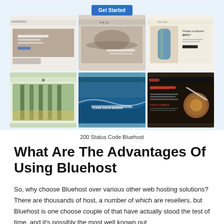[Figure (screenshot): Grid of 6 website screenshot thumbnails with a blue 'Get Started' button at the top, showing various website templates including travel, fashion/hats, surfboard shop, art gallery, ocean/surfing, and restaurant sites, displayed on a light blue background.]
200 Status Code Bluehost
What Are The Advantages Of Using Bluehost
So, why choose Bluehost over various other web hosting solutions? There are thousands of host, a number of which are resellers, but Bluehost is one choose couple of that have actually stood the test of time, and it's possibly the most well known out